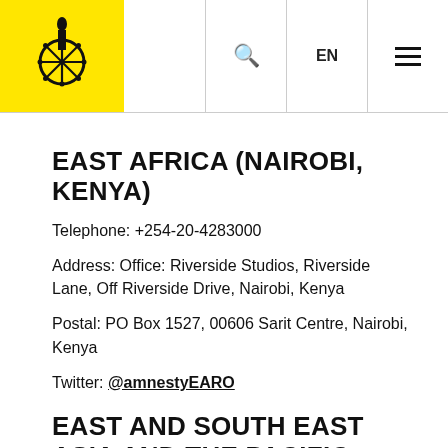Amnesty International — EN — Menu
EAST AFRICA (NAIROBI, KENYA)
Telephone: +254-20-4283000
Address: Office: Riverside Studios, Riverside Lane, Off Riverside Drive, Nairobi, Kenya
Postal: PO Box 1527, 00606 Sarit Centre, Nairobi, Kenya
Twitter: @amnestyEARO
EAST AND SOUTH EAST ASIA AND THE PACIFIC